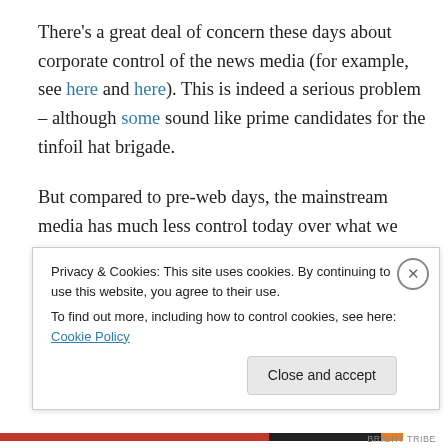There's a great deal of concern these days about corporate control of the news media (for example, see here and here). This is indeed a serious problem – although some sound like prime candidates for the tinfoil hat brigade.

But compared to pre-web days, the mainstream media has much less control today over what we know about current events. And as long as the web is free to all the tide of content will continue to turn from a top-down model to one that is...
Privacy & Cookies: This site uses cookies. By continuing to use this website, you agree to their use.
To find out more, including how to control cookies, see here: Cookie Policy